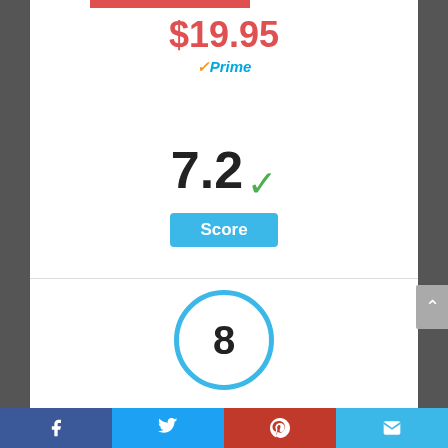$19.95
✓Prime
7.2 ✓
Score
8
Facebook | Twitter | Pinterest | Email